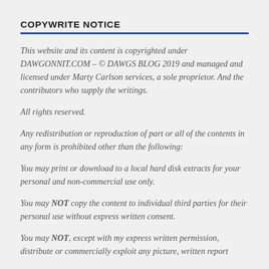COPYWRITE NOTICE
This website and its content is copyrighted under DAWGONNIT.COM – © DAWGS BLOG 2019 and managed and licensed under Marty Carlson services, a sole proprietor. And the contributors who supply the writings.
All rights reserved.
Any redistribution or reproduction of part or all of the contents in any form is prohibited other than the following:
You may print or download to a local hard disk extracts for your personal and non-commercial use only.
You may NOT copy the content to individual third parties for their personal use without express written consent.
You may NOT, except with my express written permission, distribute or commercially exploit any picture, written report